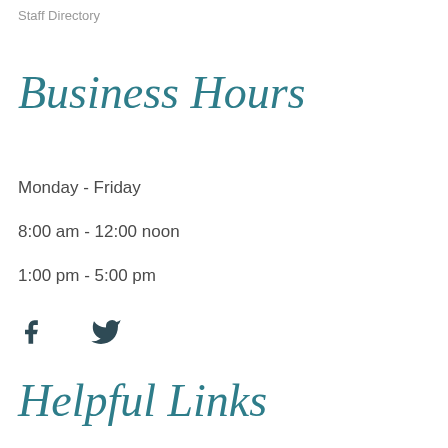Staff Directory
Business Hours
Monday - Friday
8:00 am - 12:00 noon
1:00 pm - 5:00 pm
[Figure (illustration): Facebook and Twitter social media icons]
Helpful Links